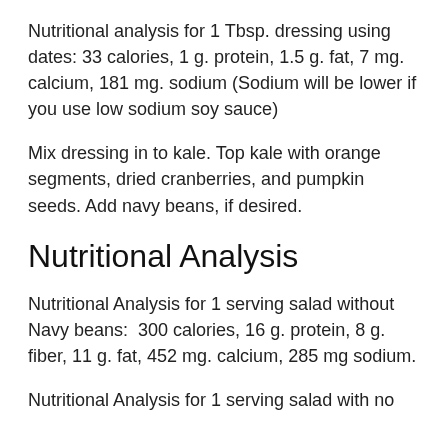Nutritional analysis for 1 Tbsp. dressing using dates: 33 calories, 1 g. protein, 1.5 g. fat, 7 mg. calcium, 181 mg. sodium (Sodium will be lower if you use low sodium soy sauce)
Mix dressing in to kale. Top kale with orange segments, dried cranberries, and pumpkin seeds. Add navy beans, if desired.
Nutritional Analysis
Nutritional Analysis for 1 serving salad without Navy beans:  300 calories, 16 g. protein, 8 g. fiber, 11 g. fat, 452 mg. calcium, 285 mg sodium.
Nutritional Analysis for 1 serving salad with no